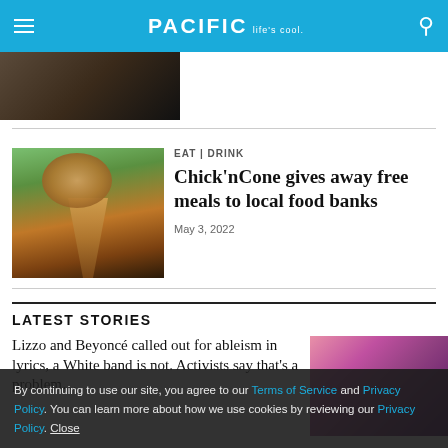PACIFIC Life's cool.
[Figure (photo): Partial view of a dark food/dish image at top left]
[Figure (photo): Hand holding a waffle cone with chicken]
EAT | DRINK
Chick'nCone gives away free meals to local food banks
May 3, 2022
LATEST STORIES
Lizzo and Beyoncé called out for ableism in lyrics, a White band is not. Activists say that's a problem…
[Figure (photo): Person with long dark hair, colorful background]
By continuing to use our site, you agree to our Terms of Service and Privacy Policy. You can learn more about how we use cookies by reviewing our Privacy Policy. Close